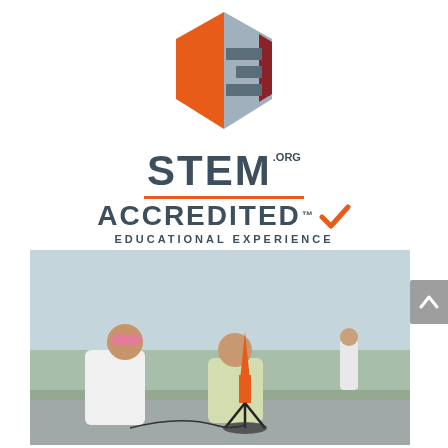[Figure (logo): STEM.ORG Accredited Educational Experience logo — geometric hexagonal shield icon in orange and dark red/grey above bold dark grey text reading STEM.ORG ACCREDITED Educational Experience with an orange checkmark]
[Figure (photo): Two young people crouching outdoors on pavement, smiling, preparing to launch a small orange model rocket. One wears a white lab coat and pink safety goggles; the other wears a light green jacket. A third person in white is visible in the background.]